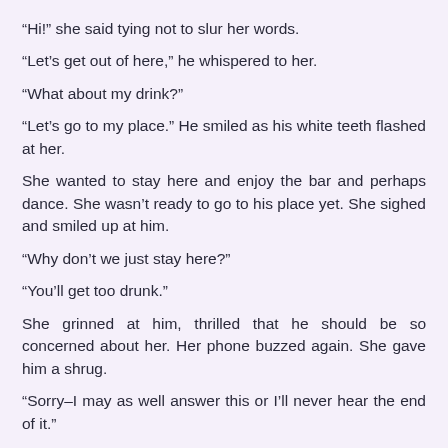“Hi!” she said tying not to slur her words.
“Let’s get out of here,” he whispered to her.
“What about my drink?”
“Let’s go to my place.” He smiled as his white teeth flashed at her.
She wanted to stay here and enjoy the bar and perhaps dance. She wasn’t ready to go to his place yet. She sighed and smiled up at him.
“Why don’t we just stay here?”
“You’ll get too drunk.”
She grinned at him, thrilled that he should be so concerned about her. Her phone buzzed again. She gave him a shrug.
“Sorry–I may as well answer this or I’ll never hear the end of it.”